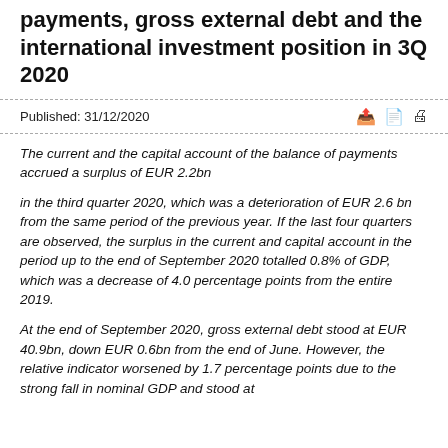payments, gross external debt and the international investment position in 3Q 2020
Published: 31/12/2020
The current and the capital account of the balance of payments accrued a surplus of EUR 2.2bn
in the third quarter 2020, which was a deterioration of EUR 2.6 bn from the same period of the previous year. If the last four quarters are observed, the surplus in the current and capital account in the period up to the end of September 2020 totalled 0.8% of GDP, which was a decrease of 4.0 percentage points from the entire 2019.
At the end of September 2020, gross external debt stood at EUR 40.9bn, down EUR 0.6bn from the end of June. However, the relative indicator worsened by 1.7 percentage points due to the strong fall in nominal GDP and stood at 91.1% of GDP at the end of September 2020.